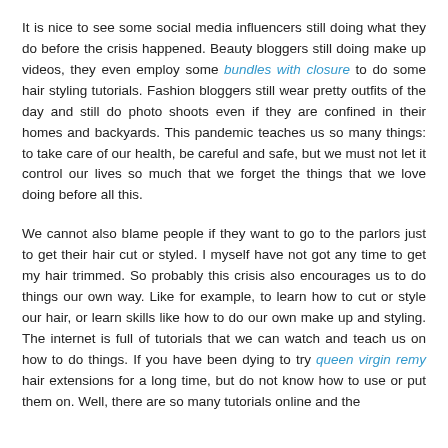It is nice to see some social media influencers still doing what they do before the crisis happened. Beauty bloggers still doing make up videos, they even employ some bundles with closure to do some hair styling tutorials. Fashion bloggers still wear pretty outfits of the day and still do photo shoots even if they are confined in their homes and backyards. This pandemic teaches us so many things: to take care of our health, be careful and safe, but we must not let it control our lives so much that we forget the things that we love doing before all this.
We cannot also blame people if they want to go to the parlors just to get their hair cut or styled. I myself have not got any time to get my hair trimmed. So probably this crisis also encourages us to do things our own way. Like for example, to learn how to cut or style our hair, or learn skills like how to do our own make up and styling. The internet is full of tutorials that we can watch and teach us on how to do things. If you have been dying to try queen virgin remy hair extensions for a long time, but do not know how to use or put them on. Well, there are so many tutorials online and the